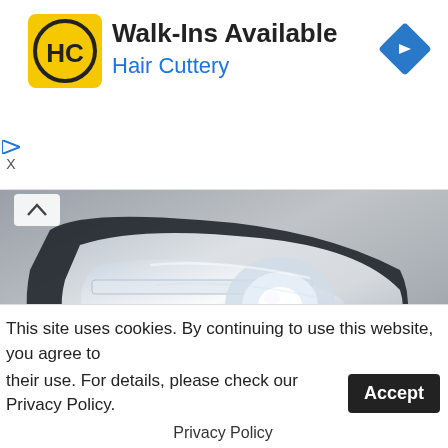[Figure (advertisement): Hair Cuttery ad banner with HC logo, text 'Walk-Ins Available / Hair Cuttery', and a blue navigation diamond icon. Small play and X controls on the left side.]
[Figure (photo): Close-up photo of a modern car headlight (LED/HID) on a silver/gray car, showing the intricate lens design.]
These are just a few of the handy tricks covered in the accompanying video so be sure to check it out for even more:
[Figure (photo): Partial strip showing a person, appears to be the beginning of another image.]
This site uses cookies. By continuing to use this website, you agree to their use. For details, please check our Privacy Policy.
Privacy Policy